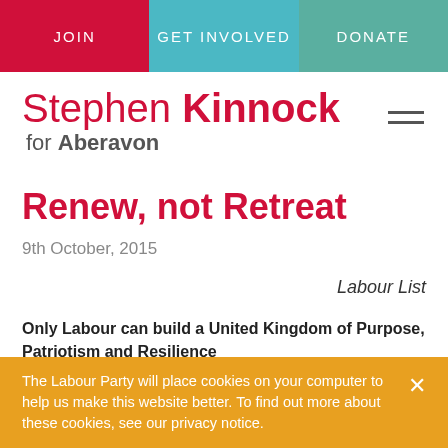JOIN | GET INVOLVED | DONATE
Stephen Kinnock for Aberavon
Renew, not Retreat
9th October, 2015
Labour List
Only Labour can build a United Kingdom of Purpose, Patriotism and Resilience
The Labour Party will place cookies on your computer to help us make this website better. To find out more about these cookies, see our privacy notice.